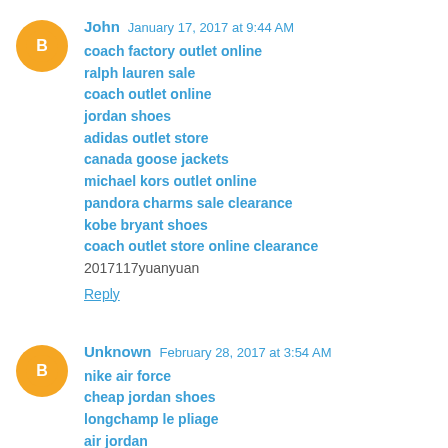John  January 17, 2017 at 9:44 AM
coach factory outlet online
ralph lauren sale
coach outlet online
jordan shoes
adidas outlet store
canada goose jackets
michael kors outlet online
pandora charms sale clearance
kobe bryant shoes
coach outlet store online clearance
2017117yuanyuan
Reply
Unknown  February 28, 2017 at 3:54 AM
nike air force
cheap jordan shoes
longchamp le pliage
air jordan